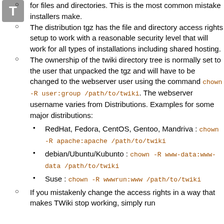[Figure (logo): Letter T icon in a grey square button]
for files and directories. This is the most common mistake installers make.
The distribution tgz has the file and directory access rights setup to work with a reasonable security level that will work for all types of installations including shared hosting.
The ownership of the twiki directory tree is normally set to the user that unpacked the tgz and will have to be changed to the webserver user using the command chown -R user:group /path/to/twiki. The webserver username varies from Distributions. Examples for some major distributions:
RedHat, Fedora, CentOS, Gentoo, Mandriva : chown -R apache:apache /path/to/twiki
debian/Ubuntu/Kubunto : chown -R www-data:www-data /path/to/twiki
Suse : chown -R wwwrun:www /path/to/twiki
If you mistakenly change the access rights in a way that makes TWiki stop working, simply run